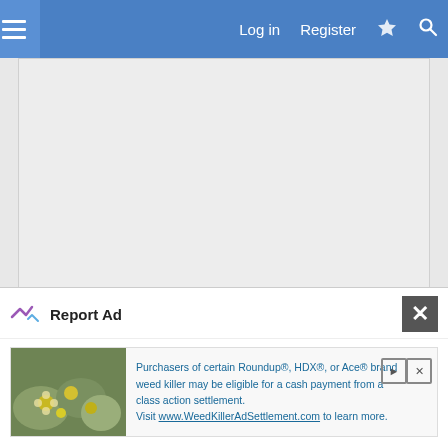Log in  Register
[Figure (screenshot): Gray advertisement placeholder area with 'Report Ad' link at the bottom left]
Report Ad
29 Jan 2021  #16
[Figure (screenshot): Report Ad modal overlay showing an advertisement for Roundup, HDX, or Ace brand weed killer class action settlement with image of yellow flowers and text directing to WeedKillerAdSettlement.com]
Report Ad
Purchasers of certain Roundup®, HDX®, or Ace® brand weed killer may be eligible for a cash payment from a class action settlement. Visit www.WeedKillerAdSettlement.com to learn more.